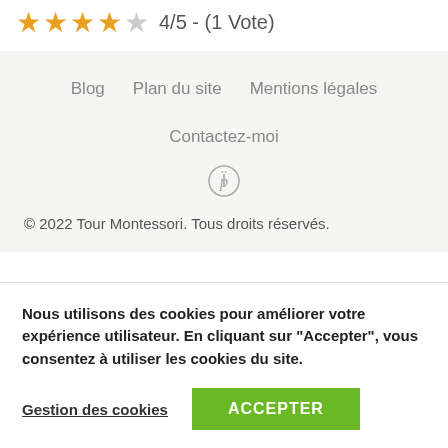4/5 - (1 Vote)
Blog  Plan du site  Mentions légales  Contactez-moi
© 2022 Tour Montessori. Tous droits réservés.
Nous utilisons des cookies pour améliorer votre expérience utilisateur. En cliquant sur "Accepter", vous consentez à utiliser les cookies du site.
Gestion des cookies
ACCEPTER